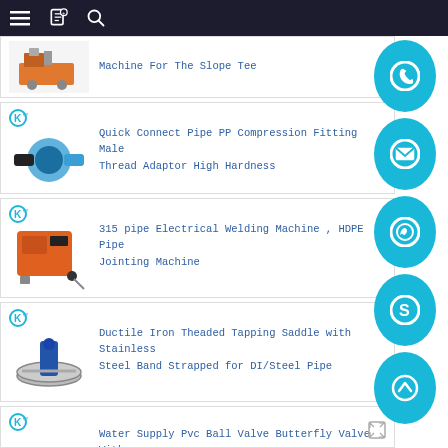Navigation bar with menu, bookmark, and search icons
Machine For The Slope Tee
Quick Connect Pipe PP Compression Fitting Male Thread Adaptor High Hardness
315 pipe Electrical Welding Machine , HDPE Pipe Jointing Machine
Ductile Iron Theaded Tapping Saddle with Stainless Steel Band Strapped for DI/Steel Pipe
Water Supply Pvc Ball Valve Butterfly Valve With...